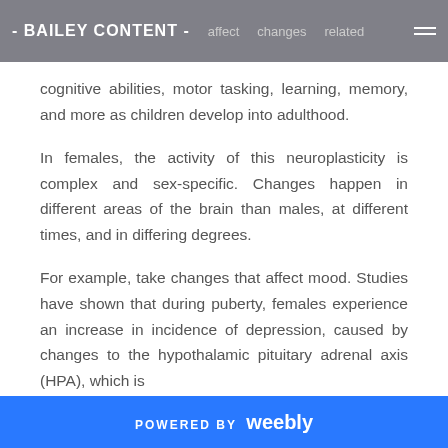- BAILEY CONTENT - affect changes related
cognitive abilities, motor tasking, learning, memory, and more as children develop into adulthood.
In females, the activity of this neuroplasticity is complex and sex-specific. Changes happen in different areas of the brain than males, at different times, and in differing degrees.
For example, take changes that affect mood. Studies have shown that during puberty, females experience an increase in incidence of depression, caused by changes to the hypothalamic pituitary adrenal axis (HPA), which is
POWERED BY weebly